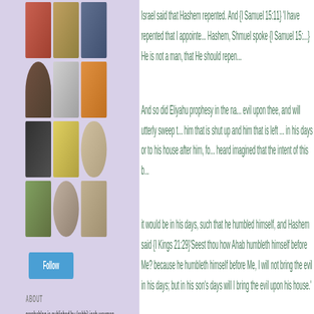[Figure (screenshot): Grid of user avatar images (profile photos) in the left sidebar of a blog]
Follow
ABOUT
parshablog is published by (rabbi) josh waxman (joshwaxman [at] yahoo [dot] com), a grad student in Revel, a grad student in a Phd program in computer science at CUNY. i recently received semicha from RIETS. this blog is devoted to parsha as well as
Israel said that Hashem repented. And {I Samuel 15:11} 'I have repented that I appointed Saul... Hashem, Shmuel spoke {I Samuel 15:...} He is not a man, that He should repen...
And so did Eliyahu prophesy in the na... evil upon thee, and will utterly sweep t... him that is shut up and him that is left ... in his days or to his house after him, fo... heard imagined that the intent of this b...
it would be in his days, such that he humbled himself, and Hashem said {I Kings 21:29}'Seest thou how Ahab humbleth himself before Me? because he humbleth himself before Me, I will not bring the evil in his days; but in his son's days will I bring the evil upon his house.'